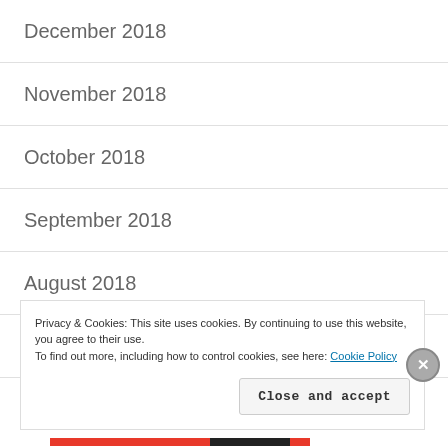December 2018
November 2018
October 2018
September 2018
August 2018
July 2018
June 2018
Privacy & Cookies: This site uses cookies. By continuing to use this website, you agree to their use.
To find out more, including how to control cookies, see here: Cookie Policy
Close and accept